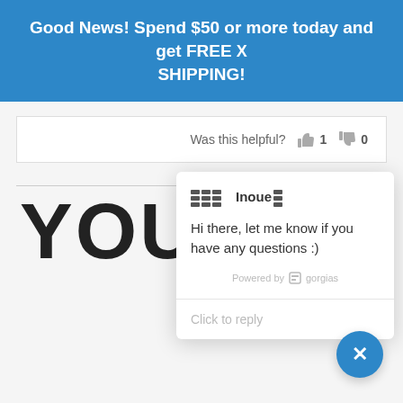Good News! Spend $50 or more today and get FREE SHIPPING!
Was this helpful?  1  0
[Figure (screenshot): Chat popup widget from Gorgias showing agent Inoue with message: Hi there, let me know if you have any questions :) and a Click to reply input area]
YOU
Click to reply